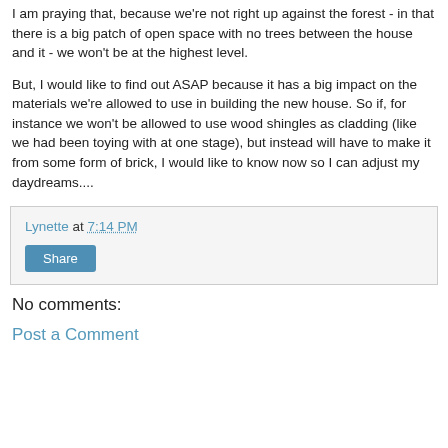I am praying that, because we're not right up against the forest - in that there is a big patch of open space with no trees between the house and it - we won't be at the highest level.
But, I would like to find out ASAP because it has a big impact on the materials we're allowed to use in building the new house. So if, for instance we won't be allowed to use wood shingles as cladding (like we had been toying with at one stage), but instead will have to make it from some form of brick, I would like to know now so I can adjust my daydreams....
Lynette at 7:14 PM
Share
No comments:
Post a Comment